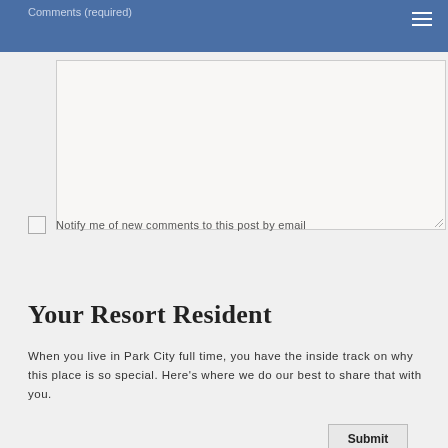Comments (required)
[Figure (screenshot): Text area input box for comments, with resize handle at bottom right]
Notify me of new comments to this post by email
Submit
Your Resort Resident
When you live in Park City full time, you have the inside track on why this place is so special. Here's where we do our best to share that with you.